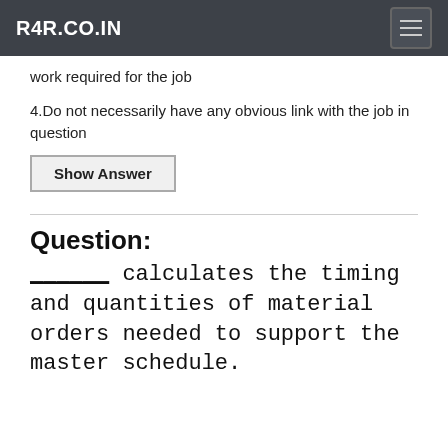R4R.CO.IN
work required for the job
4.Do not necessarily have any obvious link with the job in question
Show Answer
Question:
______ calculates the timing and quantities of material orders needed to support the master schedule.